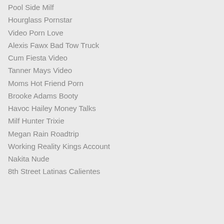Pool Side Milf
Hourglass Pornstar
Video Porn Love
Alexis Fawx Bad Tow Truck
Cum Fiesta Video
Tanner Mays Video
Moms Hot Friend Porn
Brooke Adams Booty
Havoc Hailey Money Talks
Milf Hunter Trixie
Megan Rain Roadtrip
Working Reality Kings Account
Nakita Nude
8th Street Latinas Calientes